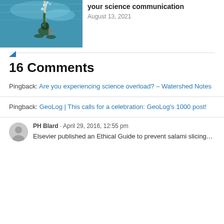[Figure (photo): Scuba diver underwater holding a pole, with blue water and bubbles visible]
your science communication
August 13, 2021
16 Comments
Pingback: Are you experiencing science overload? – Watershed Notes
Pingback: GeoLog | This calls for a celebration: GeoLog's 1000 post!
[Figure (illustration): Generic user avatar icon (grey circle with person silhouette)]
PH Blard · April 29, 2016, 12:55 pm
Elsevier published an Ethical Guide to prevent salami slicing...